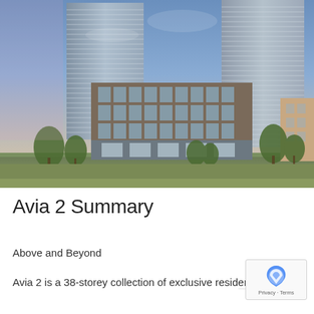[Figure (photo): Architectural rendering of two tall residential towers (Avia 2), approximately 38 storeys each, with a lower mid-rise podium building featuring brick and glass facades in the foreground. Trees and a green lawn in the foreground. Blue evening sky.]
Avia 2 Summary
Above and Beyond
Avia 2 is a 38-storey collection of exclusive residences.